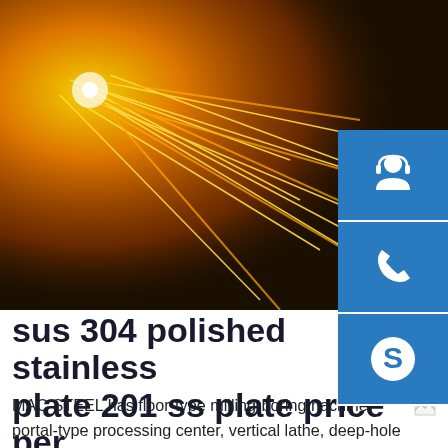[Figure (photo): Industrial metal cutting or welding with bright orange sparks flying against a dark background]
sus 304 polished stainless plate 201 ss plate price per
MAC STEEL has floor-type milling-boring nachine, portal-type processing center, vertical lathe, deep-hole drilling machine, nulti-drilling machine and planer, which are multi-standard, high-precision and multi-function. MAC STEEL has a wealth of machining experience and cases, such as the processing of tube sheets, food